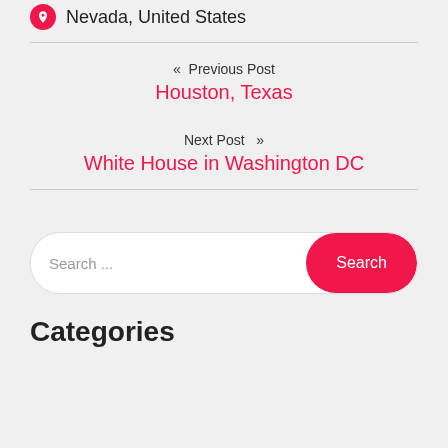Nevada, United States
« Previous Post
Houston, Texas
Next Post »
White House in Washington DC
Search ...
Categories